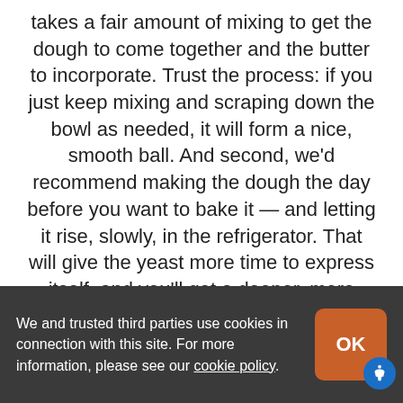takes a fair amount of mixing to get the dough to come together and the butter to incorporate. Trust the process: if you just keep mixing and scraping down the bowl as needed, it will form a nice, smooth ball. And second, we'd recommend making the dough the day before you want to bake it — and letting it rise, slowly, in the refrigerator. That will give the yeast more time to express itself, and you'll get a deeper, more complex flavor.
Servings or yield: 2 loaves
We and trusted third parties use cookies in connection with this site. For more information, please see our cookie policy.